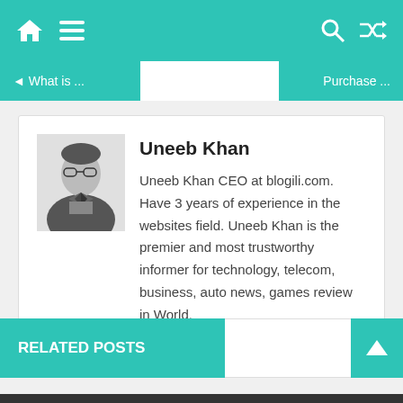Navigation bar with home, menu, search, and shuffle icons
◄ What is ...    Purchase ...
Uneeb Khan
Uneeb Khan CEO at blogili.com. Have 3 years of experience in the websites field. Uneeb Khan is the premier and most trustworthy informer for technology, telecom, business, auto news, games review in World.
https://www.businessgrape.com/
RELATED POSTS